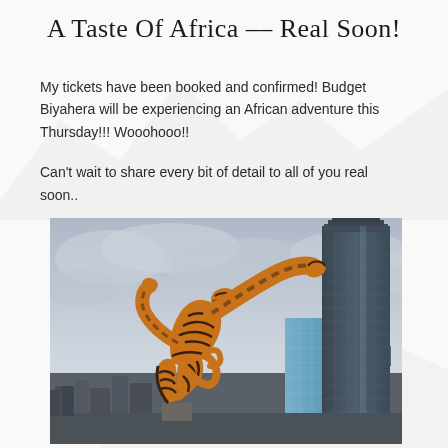A Taste Of Africa -- Real Soon!
My tickets have been booked and confirmed! Budget Biyahera will be experiencing an African adventure this Thursday!!! Wooohooo!!
Can't wait to share every bit of detail to all of you real soon..
[Figure (photo): A large orange and black striped acrobatic sculpture of a human figure in a dynamic leaping/bending pose, with modern city skyscrapers in the background against a cloudy grey sky. The tallest building is a dark glass tower.]